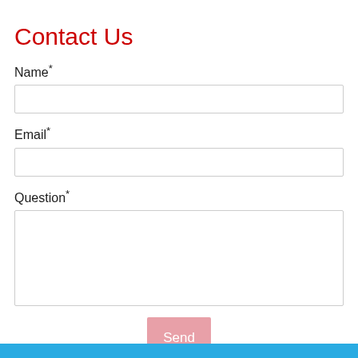Contact Us
Name*
Email*
Question*
Send